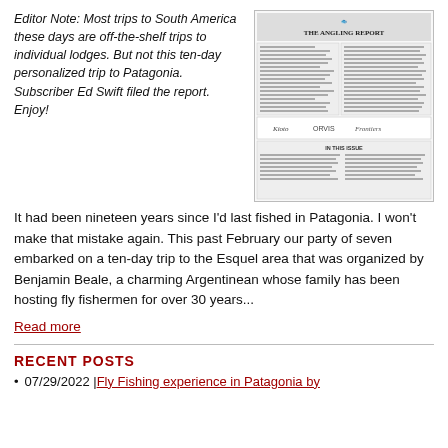Editor Note: Most trips to South America these days are off-the-shelf trips to individual lodges. But not this ten-day personalized trip to Patagonia. Subscriber Ed Swift filed the report. Enjoy!
[Figure (screenshot): Thumbnail image of The Angling Report newsletter cover, showing newsletter title, article previews, and sponsor logos including Orvis and Frontiers.]
It had been nineteen years since I'd last fished in Patagonia. I won't make that mistake again. This past February our party of seven embarked on a ten-day trip to the Esquel area that was organized by Benjamin Beale, a charming Argentinean whose family has been hosting fly fishermen for over 30 years...
Read more
RECENT POSTS
07/29/2022 | Fly Fishing experience in Patagonia by